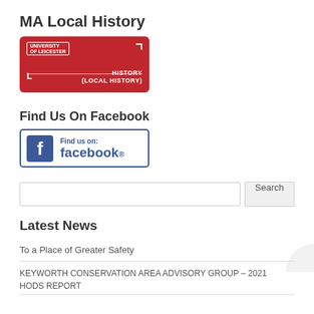MA Local History
[Figure (illustration): Red University of Leicester MA Local History library card with white text reading HISTORY (LOCAL HISTORY) and the letter L]
Find Us On Facebook
[Figure (logo): Facebook 'Find us on facebook' badge with blue border and Facebook icon]
[Figure (screenshot): Search input box with Search button]
Latest News
To a Place of Greater Safety
KEYWORTH CONSERVATION AREA ADVISORY GROUP – 2021 HODS REPORT